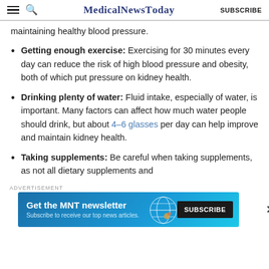MedicalNewsToday SUBSCRIBE
maintaining healthy blood pressure.
Getting enough exercise: Exercising for 30 minutes every day can reduce the risk of high blood pressure and obesity, both of which put pressure on kidney health.
Drinking plenty of water: Fluid intake, especially of water, is important. Many factors can affect how much water people should drink, but about 4–6 glasses per day can help improve and maintain kidney health.
Taking supplements: Be careful when taking supplements, as not all dietary supplements and
[Figure (infographic): Advertisement banner for MNT newsletter with teal/blue gradient background, bold white text 'Get the MNT newsletter', subtext 'Subscribe to receive our top news articles.', and a dark SUBSCRIBE button on the right.]